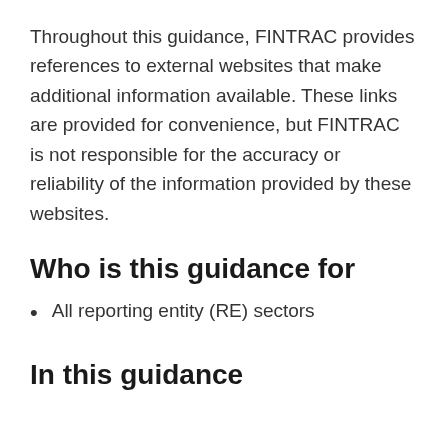Throughout this guidance, FINTRAC provides references to external websites that make additional information available. These links are provided for convenience, but FINTRAC is not responsible for the accuracy or reliability of the information provided by these websites.
Who is this guidance for
All reporting entity (RE) sectors
In this guidance